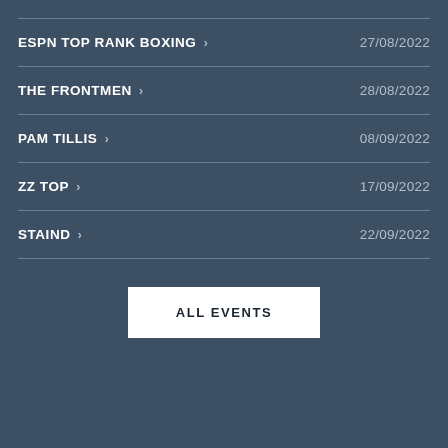ESPN TOP RANK BOXING > 27/08/2022
THE FRONTMEN > 28/08/2022
PAM TILLIS > 08/09/2022
ZZ TOP > 17/09/2022
STAIND > 22/09/2022
ALL EVENTS